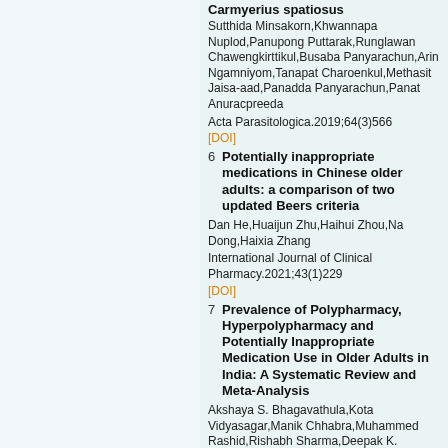[Figure (other): Left panel with faded background image/watermark area]
Carmyerius spatiosus
Sutthida Minsakorn,Khwannapa Nuplod,Panupong Puttarak,Runglawan Chawengkirttikul,Busaba Panyarachun,Arin Ngamniyom,Tanapat Charoenkul,Methasit Jaisa-aad,Panadda Panyarachun,Panat Anuracpreeda
Acta Parasitologica.2019;64(3)566
[DOI]
Potentially inappropriate medications in Chinese older adults: a comparison of two updated Beers criteria
Dan He,Huaijun Zhu,Haihui Zhou,Na Dong,Haixia Zhang
International Journal of Clinical Pharmacy.2021;43(1)229
[DOI]
Prevalence of Polypharmacy, Hyperpolypharmacy and Potentially Inappropriate Medication Use in Older Adults in India: A Systematic Review and Meta-Analysis
Akshaya S. Bhagavathula,Kota Vidyasagar,Manik Chhabra,Muhammed Rashid,Rishabh Sharma,Deepak K. Bandari,Daniela Fialova
Frontiers in Pharmacology.2021;12(1)229
[DOI]